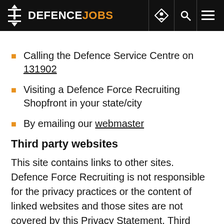DEFENCE JOBS
Calling the Defence Service Centre on 131902
Visiting a Defence Force Recruiting Shopfront in your state/city
By emailing our webmaster
Third party websites
This site contains links to other sites. Defence Force Recruiting is not responsible for the privacy practices or the content of linked websites and those sites are not covered by this Privacy Statement. Third party websites may send their own cookies to users and use other tracking